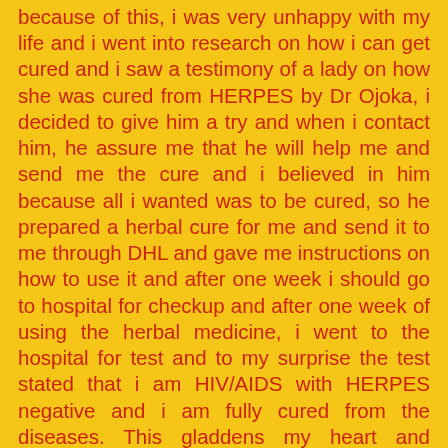because of this, i was very unhappy with my life and i went into research on how i can get cured and i saw a testimony of a lady on how she was cured from HERPES by Dr Ojoka, i decided to give him a try and when i contact him, he assure me that he will help me and send me the cure and i believed in him because all i wanted was to be cured, so he prepared a herbal cure for me and send it to me through DHL and gave me instructions on how to use it and after one week i should go to hospital for checkup and after one week of using the herbal medicine, i went to the hospital for test and to my surprise the test stated that i am HIV/AIDS with HERPES negative and i am fully cured from the diseases. This gladdens my heart and everybody in the hospital was surprised even the Medical Doctor, So viewers Dr OJOKA is a God Gifted man and he can cure so many diseases like HIV/AIDS, HERPES,CANCER of all kind, PILE, KIDNEY PROBLEM, SYPHILIS, DIABETES, HSV1&2, HPV and lot's more. You can contact him through his                                         email: